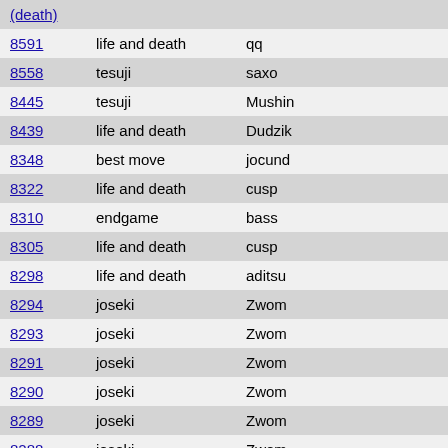| ID | Category | User |
| --- | --- | --- |
| (death) |  |  |
| 8591 | life and death | qq |
| 8558 | tesuji | saxo |
| 8445 | tesuji | Mushin |
| 8439 | life and death | Dudzik |
| 8348 | best move | jocund |
| 8322 | life and death | cusp |
| 8310 | endgame | bass |
| 8305 | life and death | cusp |
| 8298 | life and death | aditsu |
| 8294 | joseki | Zwom |
| 8293 | joseki | Zwom |
| 8291 | joseki | Zwom |
| 8290 | joseki | Zwom |
| 8289 | joseki | Zwom |
| 8288 | joseki | Zwom |
| 8285 | joseki | Zwom |
| 8240 | life and death | LCZLAPINSKI |
| 8035 | endgame | aditsu |
| 8034 | life and death | flame |
| 8000 | life and death | BartTM |
| 7958 | life and | BartTM |